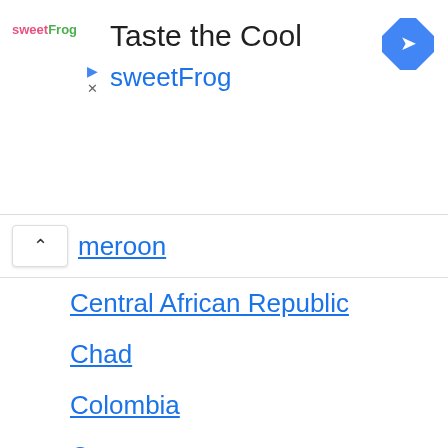[Figure (logo): sweetFrog brand advertisement banner with logo, title 'Taste the Cool', brand name 'sweetFrog', navigation arrow icon, play and close controls]
Cameroon
Central African Republic
Chad
Colombia
Congo
Côte d'Ivoire
Ethiopia
France
Ghana
Guatemala
Haiti